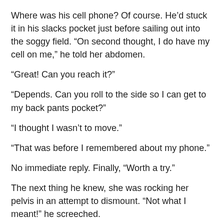Where was his cell phone? Of course. He’d stuck it in his slacks pocket just before sailing out into the soggy field. “On second thought, I do have my cell on me,” he told her abdomen.
“Great! Can you reach it?”
“Depends. Can you roll to the side so I can get to my back pants pocket?”
“I thought I wasn’t to move.”
“That was before I remembered about my phone.”
No immediate reply. Finally, “Worth a try.”
The next thing he knew, she was rocking her pelvis in an attempt to dismount. “Not what I meant!” he screeched.